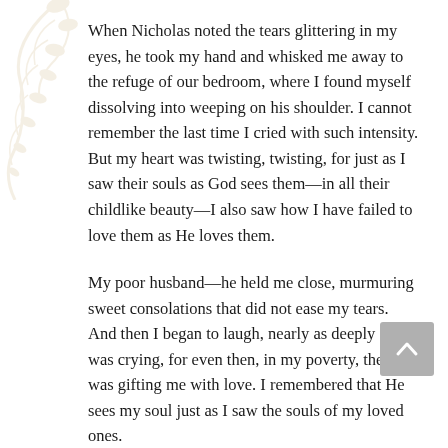When Nicholas noted the tears glittering in my eyes, he took my hand and whisked me away to the refuge of our bedroom, where I found myself dissolving into weeping on his shoulder. I cannot remember the last time I cried with such intensity. But my heart was twisting, twisting, for just as I saw their souls as God sees them—in all their childlike beauty—I also saw how I have failed to love them as He loves them.
My poor husband—he held me close, murmuring sweet consolations that did not ease my tears. And then I began to laugh, nearly as deeply as I was crying, for even then, in my poverty, the Lord was gifting me with love. I remembered that He sees my soul just as I saw the souls of my loved ones.
I emerged from the bedroom, puffy-eyed and grinning, ready to play another boardgame with